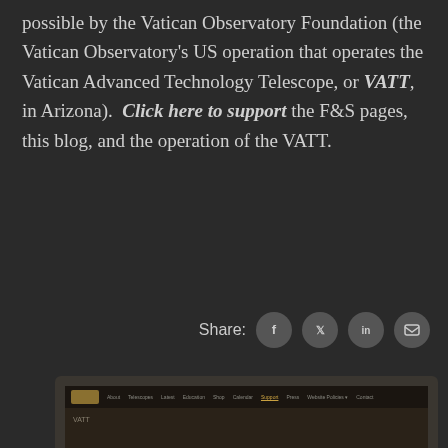possible by the Vatican Observatory Foundation (the Vatican Observatory's US operation that operates the Vatican Advanced Technology Telescope, or VATT, in Arizona).  Click here to support the F&S pages, this blog, and the operation of the VATT.
Share:
[Figure (screenshot): Screenshot of a website (Vatican Observatory) showing a navigation bar with menu items and website content on a dark background]